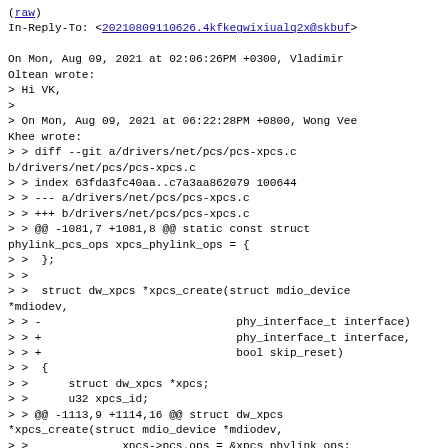(raw)
In-Reply-To: <20210809110626.4kfkegwixiualq2x@skbuf>

On Mon, Aug 09, 2021 at 02:06:26PM +0300, Vladimir Oltean wrote:
> Hi VK,
>
> On Mon, Aug 09, 2021 at 06:22:28PM +0800, Wong Vee Khee wrote:
> > diff --git a/drivers/net/pcs/pcs-xpcs.c b/drivers/net/pcs/pcs-xpcs.c
> > index 63fda3fc40aa..c7a3aa862079 100644
> > --- a/drivers/net/pcs/pcs-xpcs.c
> > +++ b/drivers/net/pcs/pcs-xpcs.c
> > @@ -1081,7 +1081,8 @@ static const struct phylink_pcs_ops xpcs_phylink_ops = {
> >  };
> >
> >  struct dw_xpcs *xpcs_create(struct mdio_device *mdiodev,
> > -                             phy_interface_t interface)
> > +                             phy_interface_t interface,
> > +                             bool skip_reset)
> >  {
> >      struct dw_xpcs *xpcs;
> >      u32 xpcs_id;
> > @@ -1113,9 +1114,16 @@ struct dw_xpcs *xpcs_create(struct mdio_device *mdiodev,
> >              xpcs->pcs.ops = &xpcs_phylink_ops;
> >              xpcs->pcs.poll = true;